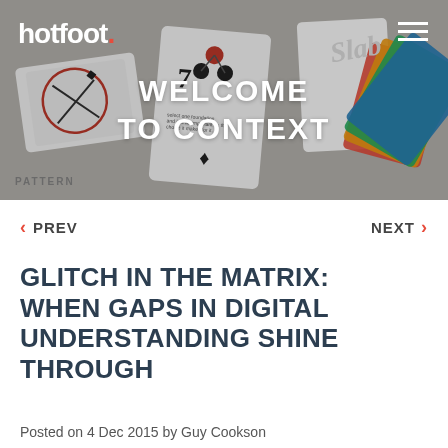[Figure (photo): Hero banner showing scattered typography card game pieces with 'WELCOME TO CONTEXT' text overlay]
hotfoot.
WELCOME TO CONTEXT
< PREV    NEXT >
GLITCH IN THE MATRIX: WHEN GAPS IN DIGITAL UNDERSTANDING SHINE THROUGH
Posted on 4 Dec 2015 by Guy Cookson